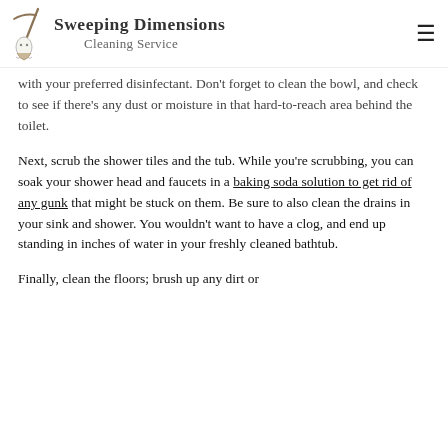Sweeping Dimensions Cleaning Service
with your preferred disinfectant. Don't forget to clean the bowl, and check to see if there's any dust or moisture in that hard-to-reach area behind the toilet.
Next, scrub the shower tiles and the tub. While you're scrubbing, you can soak your shower head and faucets in a baking soda solution to get rid of any gunk that might be stuck on them. Be sure to also clean the drains in your sink and shower. You wouldn't want to have a clog, and end up standing in inches of water in your freshly cleaned bathtub.
Finally, clean the floors; brush up any dirt or